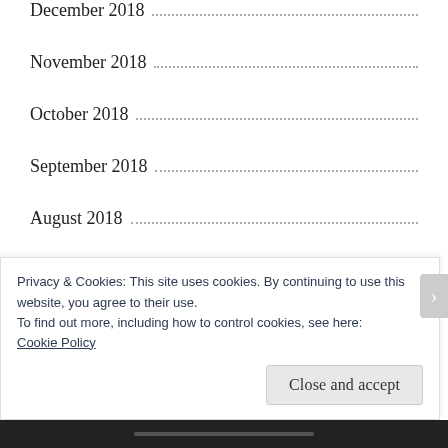December 2018
November 2018
October 2018
September 2018
August 2018
July 2018
June 2018
May 2018
April 2018
March 2018
February 2018
Privacy & Cookies: This site uses cookies. By continuing to use this website, you agree to their use.
To find out more, including how to control cookies, see here: Cookie Policy